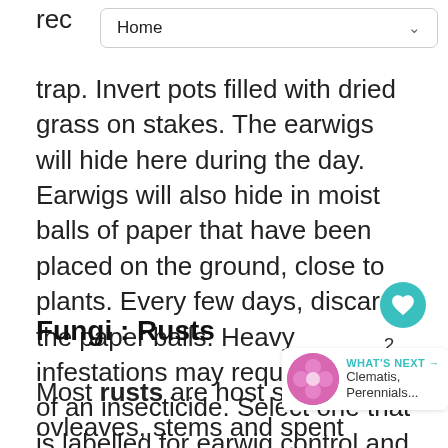Home
rec
trap. Invert pots filled with dried grass on stakes. The earwigs will hide here during the day. Earwigs will also hide in moist balls of paper that have been placed on the ground, close to plants. Every few days, discard the paper balls. Heavy infestations may require the use of an insecticide. Select one that is labelled for earwig control and follow all label procedures to a tee.
Fungi : Rusts
Most rusts are host specific and ov... leaves, stems and spent flower debris. Rust often appears as small, bright orange, yellow,